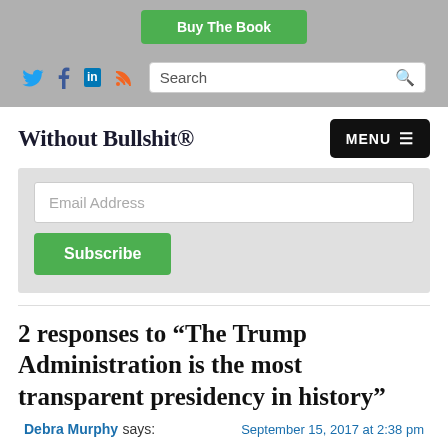[Figure (screenshot): Green 'Buy The Book' button in top gray header bar]
[Figure (screenshot): Social media icons (Twitter, Facebook, LinkedIn, RSS) and a search box in gray navigation bar]
Without Bullshit®
[Figure (screenshot): Black MENU button with hamburger icon]
[Figure (screenshot): Email subscription widget with 'Email Address' input and green 'Subscribe' button]
2 responses to “The Trump Administration is the most transparent presidency in history”
Debra Murphy says:  September 15, 2017 at 2:38 pm